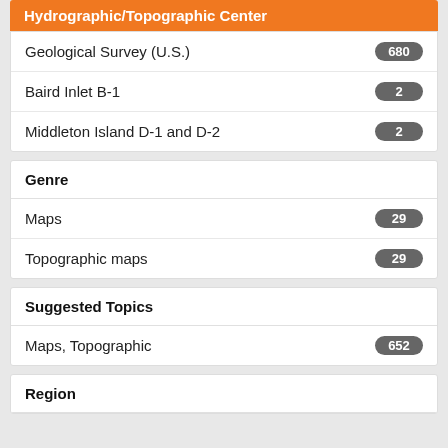Hydrographic/Topographic Center
Geological Survey (U.S.) 680
Baird Inlet B-1 2
Middleton Island D-1 and D-2 2
Genre
Maps 29
Topographic maps 29
Suggested Topics
Maps, Topographic 652
Region